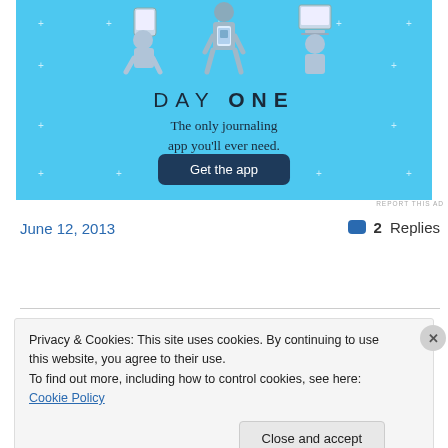[Figure (screenshot): Day One journaling app advertisement banner with light blue background, illustrated figures holding devices, 'DAY ONE' title text, tagline 'The only journaling app you'll ever need.' and a dark blue 'Get the app' button]
REPORT THIS AD
June 12, 2013
2 Replies
Privacy & Cookies: This site uses cookies. By continuing to use this website, you agree to their use.
To find out more, including how to control cookies, see here: Cookie Policy
Close and accept